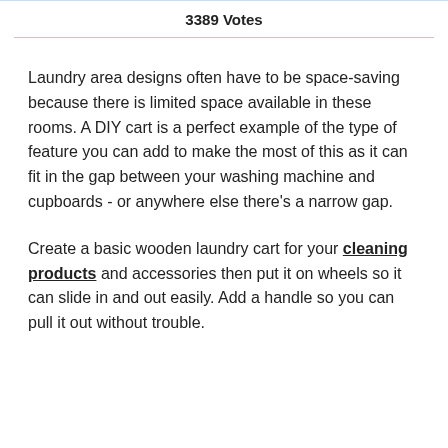3389 Votes
Laundry area designs often have to be space-saving because there is limited space available in these rooms. A DIY cart is a perfect example of the type of feature you can add to make the most of this as it can fit in the gap between your washing machine and cupboards - or anywhere else there’s a narrow gap.
Create a basic wooden laundry cart for your cleaning products and accessories then put it on wheels so it can slide in and out easily. Add a handle so you can pull it out without trouble.